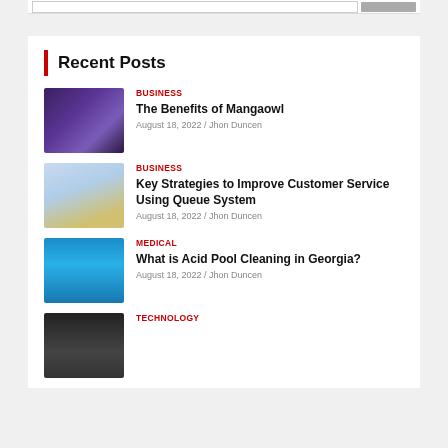Recent Posts
BUSINESS | The Benefits of Mangaowl | August 18, 2022 / Jhon Duncen
BUSINESS | Key Strategies to Improve Customer Service Using Queue System | August 18, 2022 / Jhon Duncen
MEDICAL | What is Acid Pool Cleaning in Georgia? | August 18, 2022 / Jhon Duncen
TECHNOLOGY